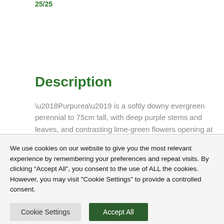25/25
Description
‘Purpurea’ is a softly downy evergreen perennial to 75cm tall, with deep purple stems and leaves, and contrasting lime-green flowers opening at the ends of the leafy stems in spring and early summer.
We use cookies on our website to give you the most relevant experience by remembering your preferences and repeat visits. By clicking “Accept All”, you consent to the use of ALL the cookies. However, you may visit "Cookie Settings" to provide a controlled consent.